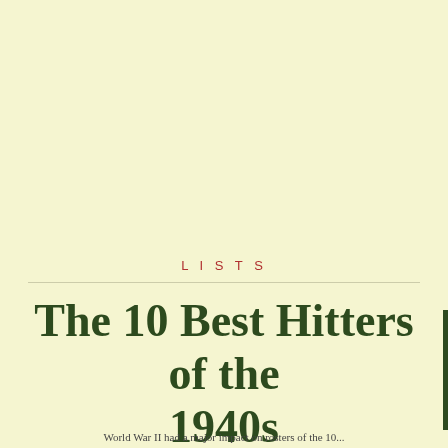LISTS
The 10 Best Hitters of the 1940s
World War II had a major impact on rosters of the 10...